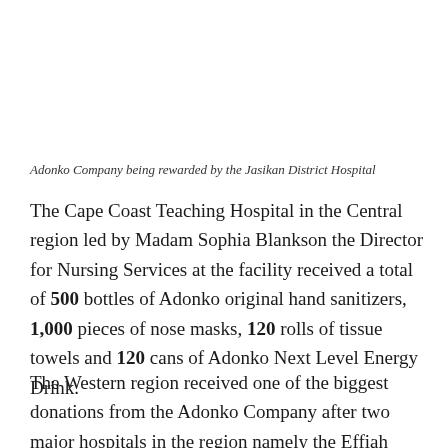Adonko Company being rewarded by the Jasikan District Hospital
The Cape Coast Teaching Hospital in the Central region led by Madam Sophia Blankson the Director for Nursing Services at the facility received a total of 500 bottles of Adonko original hand sanitizers, 1,000 pieces of nose masks, 120 rolls of tissue towels and 120 cans of Adonko Next Level Energy Drink.
The Western region received one of the biggest donations from the Adonko Company after two major hospitals in the region namely the Effiah Nkwanta Regional Hospital in Takoradi and the Tarkwa Municipal Hospital…